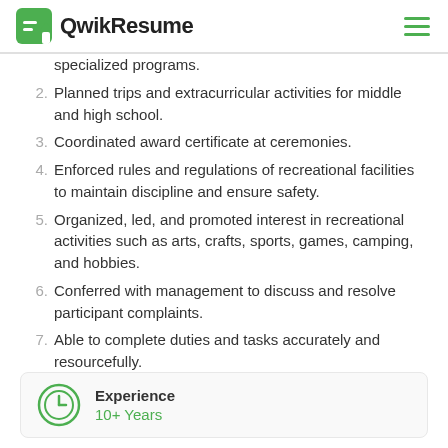QwikResume
specialized programs.
2. Planned trips and extracurricular activities for middle and high school.
3. Coordinated award certificate at ceremonies.
4. Enforced rules and regulations of recreational facilities to maintain discipline and ensure safety.
5. Organized, led, and promoted interest in recreational activities such as arts, crafts, sports, games, camping, and hobbies.
6. Conferred with management to discuss and resolve participant complaints.
7. Able to complete duties and tasks accurately and resourcefully.
Experience 10+ Years